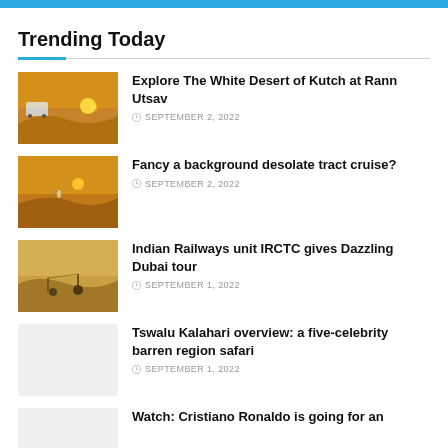Trending Today
Explore The White Desert of Kutch at Rann Utsav — SEPTEMBER 2, 2022
Fancy a background desolate tract cruise? — SEPTEMBER 2, 2022
Indian Railways unit IRCTC gives Dazzling Dubai tour — SEPTEMBER 1, 2022
Tswalu Kalahari overview: a five-celebrity barren region safari — SEPTEMBER 1, 2022
Watch: Cristiano Ronaldo is going for an ...